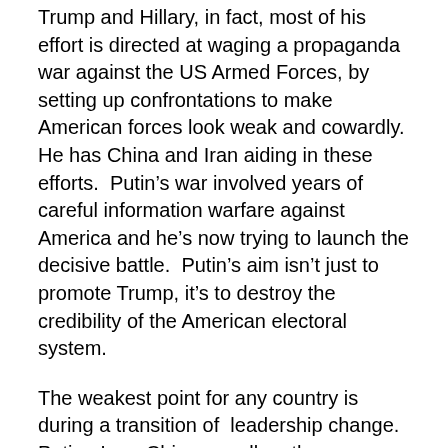Trump and Hillary, in fact, most of his effort is directed at waging a propaganda war against the US Armed Forces, by setting up confrontations to make American forces look weak and cowardly.  He has China and Iran aiding in these efforts.  Putin’s war involved years of careful information warfare against America and he’s now trying to launch the decisive battle.  Putin’s aim isn’t just to promote Trump, it’s to destroy the credibility of the American electoral system.
The weakest point for any country is during a transition of leadership change.  Putin , Iran, China are all on the move, while Obama continues to golf and the American public talks itself into exhaustion about Trump’s grabbing women’s private parts.
Trump presently is burning up Twitter today, with attacks against Republicans again, more burning the GOP to the